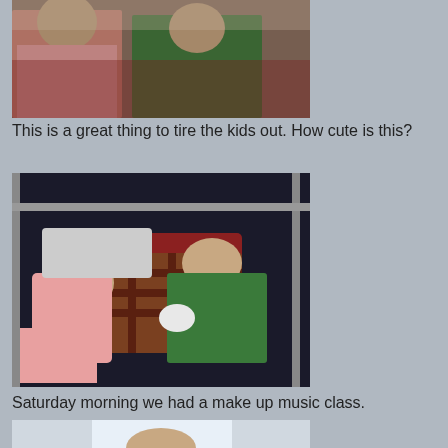[Figure (photo): Two young children sitting together; a girl in pink and a boy in a green Teenage Mutant Ninja Turtles shirt]
This is a great thing to tire the kids out. How cute is this?
[Figure (photo): Two young children sleeping on the floor, both in the same clothes as the previous photo]
Saturday morning we had a make up music class.
[Figure (photo): Partial view of a child at what appears to be a music class]